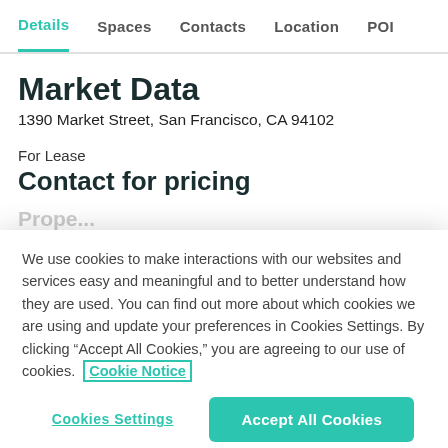Details  Spaces  Contacts  Location  POI
Market Data
1390 Market Street, San Francisco, CA 94102
For Lease
Contact for pricing
We use cookies to make interactions with our websites and services easy and meaningful and to better understand how they are used. You can find out more about which cookies we are using and update your preferences in Cookies Settings. By clicking “Accept All Cookies,” you are agreeing to our use of cookies.  Cookie Notice
Cookies Settings  Accept All Cookies